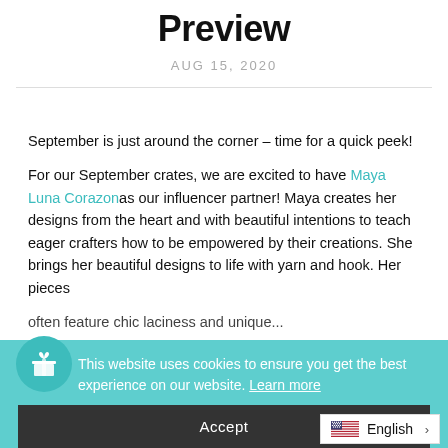Preview
AUG 15, 2020
September is just around the corner – time for a quick peek!
For our September crates, we are excited to have Maya Luna Corazon as our influencer partner! Maya creates her designs from the heart and with beautiful intentions to teach eager crafters how to be empowered by their creations. She brings her beautiful designs to life with yarn and hook. Her pieces often feature chic laciness and unique...
Continue Reading
This website uses cookies to ensure you get the best experience on our website. Learn more
Accept
English